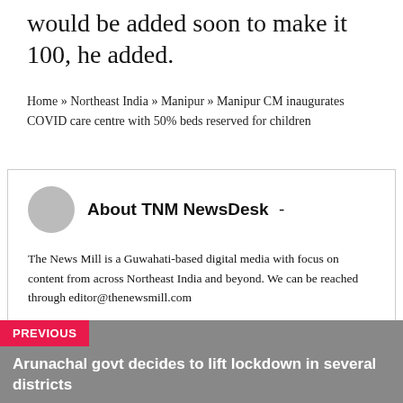would be added soon to make it 100, he added.
Home » Northeast India » Manipur » Manipur CM inaugurates COVID care centre with 50% beds reserved for children
About TNM NewsDesk  -
The News Mill is a Guwahati-based digital media with focus on content from across Northeast India and beyond. We can be reached through editor@thenewsmill.com
PREVIOUS
Arunachal govt decides to lift lockdown in several districts